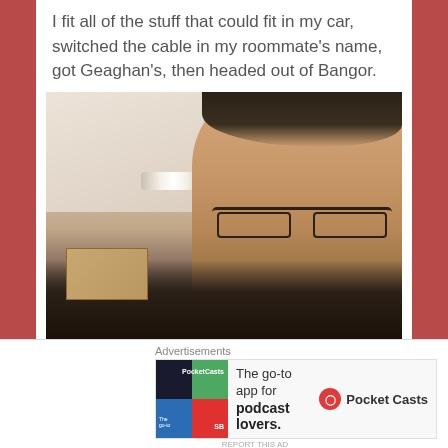I fit all of the stuff that could fit in my car, switched the cable in my roommate's name, got Geaghan's, then headed out of Bangor.
[Figure (photo): Selfie photo of a man with glasses wearing dark clothing, sitting in a car packed with boxes and bags. The car interior ceiling is visible on the left side with an overhead light.]
Advertisements
[Figure (logo): Pocket Casts app advertisement banner: colorful four-quadrant app icon on the left, text 'The go-to app for podcast lovers.' in the center, and Pocket Casts logo and name on the right.]